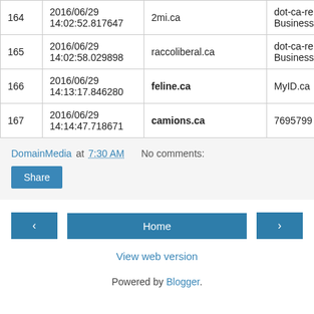|  | Date | Domain | Info |
| --- | --- | --- | --- |
| 164 | 2016/06/29 14:02:52.817647 | 2mi.ca | dot-ca-re Business |
| 165 | 2016/06/29 14:02:58.029898 | raccoliberal.ca | dot-ca-re Business |
| 166 | 2016/06/29 14:13:17.846280 | feline.ca | MyID.ca |
| 167 | 2016/06/29 14:14:47.718671 | camions.ca | 7695799 |
DomainMedia at 7:30 AM   No comments:
Share
‹   Home   ›
View web version
Powered by Blogger.